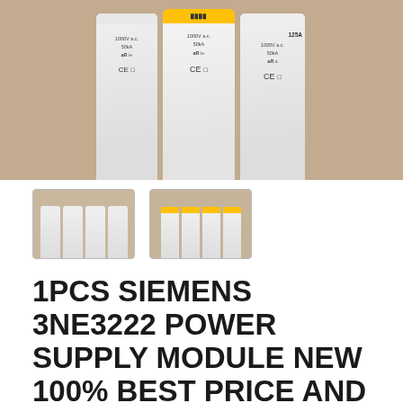[Figure (photo): Close-up photo of three large white cylindrical industrial fuses (Siemens type) arranged side by side on a brown cardboard box background. Fuses labeled with 1000V a.c., 50kA, aR ratings and CE marks.]
[Figure (photo): Small thumbnail image of multiple smaller industrial fuses arranged in a row on a box, viewed from slightly above.]
[Figure (photo): Small thumbnail image of multiple industrial fuses with orange/yellow tops arranged in a row on a box.]
1PCS SIEMENS 3NE3222 POWER SUPPLY MODULE NEW 100% BEST PRICE AND QUALITY ASSURANCE
$76.00